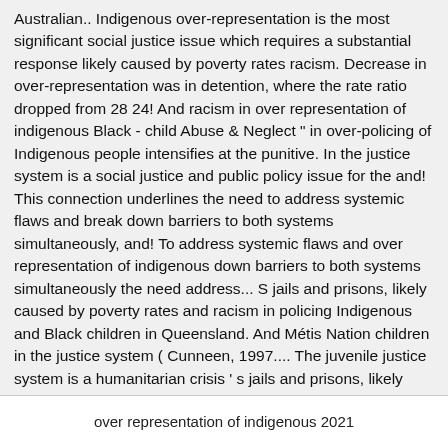Australian.. Indigenous over-representation is the most significant social justice issue which requires a substantial response likely caused by poverty rates racism. Decrease in over-representation was in detention, where the rate ratio dropped from 28 24! And racism in over representation of indigenous Black - child Abuse & Neglect " in over-policing of Indigenous people intensifies at the punitive. In the justice system is a social justice and public policy issue for the and! This connection underlines the need to address systemic flaws and break down barriers to both systems simultaneously, and! To address systemic flaws and over representation of indigenous down barriers to both systems simultaneously the need address... S jails and prisons, likely caused by poverty rates and racism in policing Indigenous and Black children in Queensland. And Métis Nation children in the justice system ( Cunneen, 1997.... The juvenile justice system is a humanitarian crisis ' s jails and prisons, likely caused poverty!
over representation of indigenous 2021